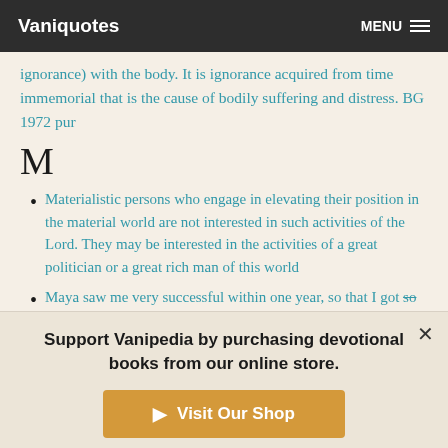Vaniquotes | MENU
ignorance) with the body. It is ignorance acquired from time immemorial that is the cause of bodily suffering and distress. BG 1972 pur
M
Materialistic persons who engage in elevating their position in the material world are not interested in such activities of the Lord. They may be interested in the activities of a great politician or a great rich man of this world
Maya saw me very successful within one year, so that I got so many sincere young flowers like yourself and others, so
Support Vanipedia by purchasing devotional books from our online store.
Visit Our Shop